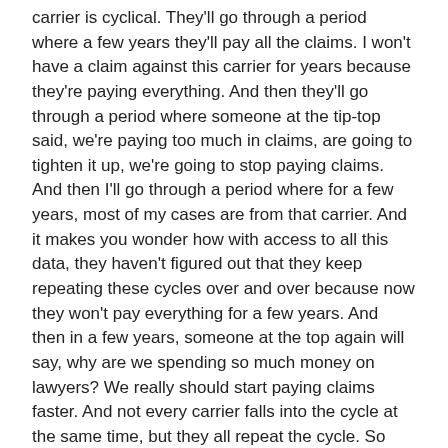carrier is cyclical. They'll go through a period where a few years they'll pay all the claims. I won't have a claim against this carrier for years because they're paying everything. And then they'll go through a period where someone at the tip-top said, we're paying too much in claims, are going to tighten it up, we're going to stop paying claims. And then I'll go through a period where for a few years, most of my cases are from that carrier. And it makes you wonder how with access to all this data, they haven't figured out that they keep repeating these cycles over and over because now they won't pay everything for a few years. And then in a few years, someone at the top again will say, why are we spending so much money on lawyers? We really should start paying claims faster. And not every carrier falls into the cycle at the same time, but they all repeat the cycle. So right now, really, really big carrier, massive carrier, one of the largest in the country is not paying for roofs.
Galen: [00:21:25] They're just not paying for roofs, every roof is repairable. It doesn't need to be replaced. We don't need to match